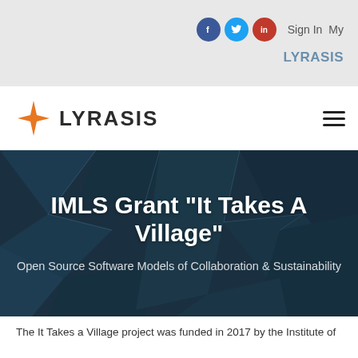Sign In  My LYRASIS
[Figure (logo): LYRASIS logo with orange star/compass icon and text LYRASIS in dark gray]
IMLS Grant "It Takes A Village"
Open Source Software Models of Collaboration & Sustainability
The It Takes a Village project was funded in 2017 by the Institute of